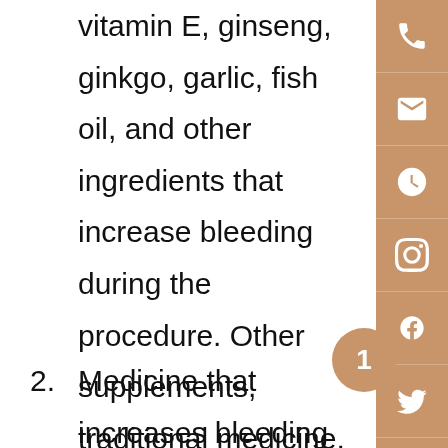vitamin E, ginseng, ginkgo, garlic, fish oil, and other ingredients that increase bleeding during the procedure. Other supplements, traditional medicine, and herbs, in which ingredients are unknown, have to stop as well.
2. Medicine that increases bleeding during the